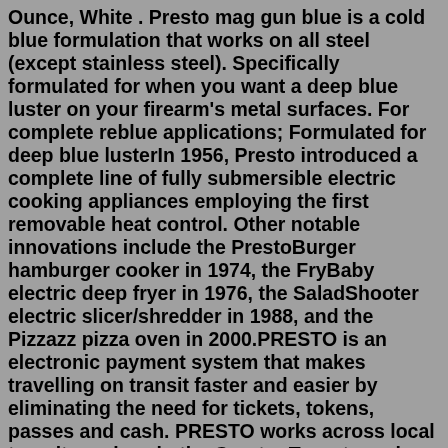Ounce, White . Presto mag gun blue is a cold blue formulation that works on all steel (except stainless steel). Specifically formulated for when you want a deep blue luster on your firearm's metal surfaces. For complete reblue applications; Formulated for deep blue lusterIn 1956, Presto introduced a complete line of fully submersible electric cooking appliances employing the first removable heat control. Other notable innovations include the PrestoBurger hamburger cooker in 1974, the FryBaby electric deep fryer in 1976, the SaladShooter electric slicer/shredder in 1988, and the Pizzazz pizza oven in 2000.PRESTO is an electronic payment system that makes travelling on transit faster and easier by eliminating the need for tickets, tokens, passes and cash. PRESTO works across local transit services in the Greater Toronto and Hamilton Area (GTHA) and Ottawa, making paying for your trip simple, convenient and secure. Method 1: Using Non-Whitespace Character Set. In regex, whitespace characters include spaces, tabs, carriage returns